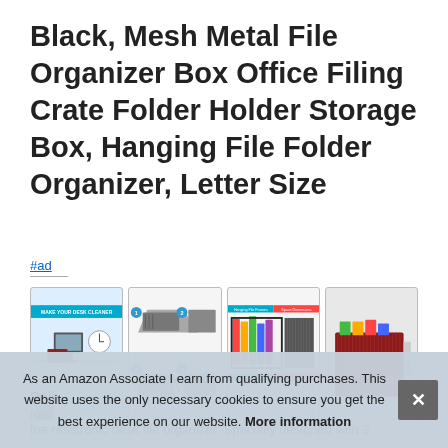Black, Mesh Metal File Organizer Box Office Filing Crate Folder Holder Storage Box, Hanging File Folder Organizer, Letter Size
#ad
[Figure (photo): Row of four product thumbnail images showing a black mesh metal file organizer box in various configurations and colors.]
Reli
fold
the reliatronic desk file organizer. Specially designed with 2
As an Amazon Associate I earn from qualifying purchases. This website uses the only necessary cookies to ensure you get the best experience on our website. More information